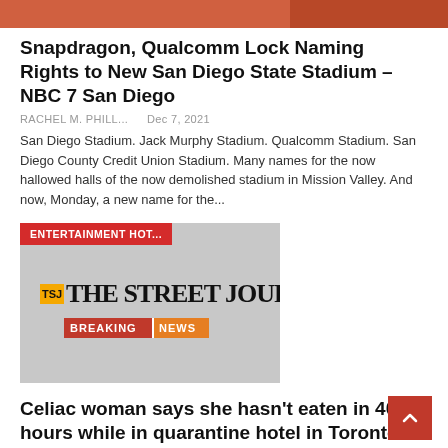[Figure (photo): Partial image at the very top of the page, showing what appears to be a person in an orange or red outfit (cropped, only bottom portion visible).]
Snapdragon, Qualcomm Lock Naming Rights to New San Diego State Stadium – NBC 7 San Diego
RACHEL M. PHILL...   Dec 7, 2021
San Diego Stadium. Jack Murphy Stadium. Qualcomm Stadium. San Diego County Credit Union Stadium. Many names for the now hallowed halls of the now demolished stadium in Mission Valley. And now, Monday, a new name for the...
[Figure (logo): The Street Journal Breaking News logo with a red ENTERTAINMENT HOT... badge in the top left corner. Logo shows TSJ badge in yellow/orange, 'THE STREET JOURNAL' in bold serif font, and 'BREAKING NEWS' bar in red/orange below.]
Celiac woman says she hasn’t eaten in 40 hours while in quarantine hotel in Toronto
RACHEL M. PHILL...   Dec 6, 2021
An Edmonton woman with extreme celiac disease says she hasn’t eaten